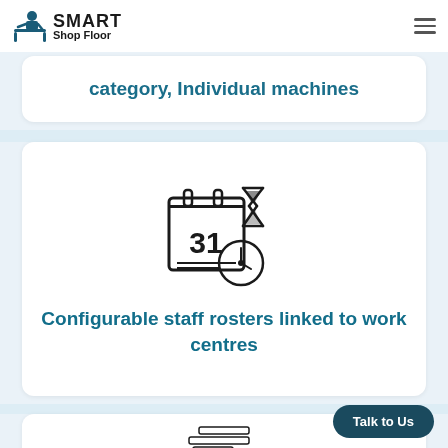[Figure (logo): Smart Shop Floor logo with icon of worker at machine]
category, Individual machines
[Figure (illustration): Calendar showing day 31 with hourglass and clock icons representing time scheduling]
Configurable staff rosters linked to work centres
[Figure (illustration): Gantt chart or scheduling bars icon at bottom of page]
Talk to Us